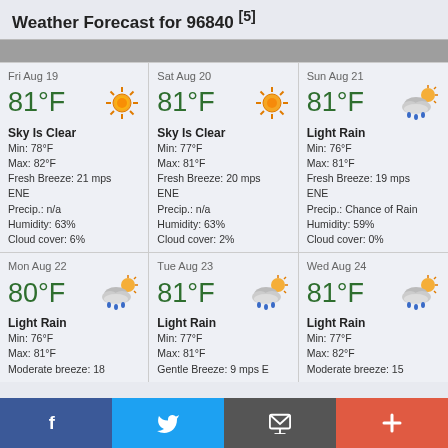Weather Forecast for 96840 [5]
| Fri Aug 19 | Sat Aug 20 | Sun Aug 21 |
| --- | --- | --- |
| 81°F / Sky Is Clear / Min: 78°F / Max: 82°F / Fresh Breeze: 21 mps ENE / Precip.: n/a / Humidity: 63% / Cloud cover: 6% | 81°F / Sky Is Clear / Min: 77°F / Max: 81°F / Fresh Breeze: 20 mps ENE / Precip.: n/a / Humidity: 63% / Cloud cover: 2% | 81°F / Light Rain / Min: 76°F / Max: 81°F / Fresh Breeze: 19 mps ENE / Precip.: Chance of Rain / Humidity: 59% / Cloud cover: 0% |
| 80°F / Light Rain / Min: 76°F / Max: 81°F / Moderate breeze: 18 | 81°F / Light Rain / Min: 77°F / Max: 81°F / Gentle Breeze: 9 mps E | 81°F / Light Rain / Min: 77°F / Max: 82°F / Moderate breeze: 15 |
Facebook | Twitter | Message | +